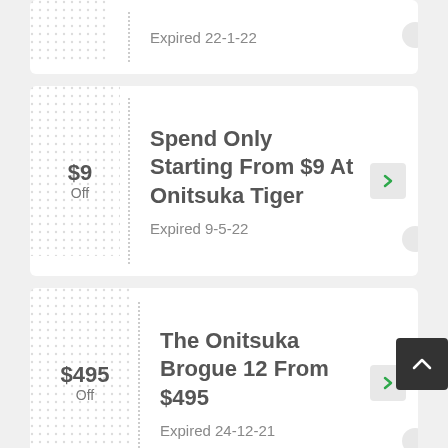Expired 22-1-22
$9 Off
Spend Only Starting From $9 At Onitsuka Tiger
Expired 9-5-22
$495 Off
The Onitsuka Brogue 12 From $495
Expired 24-12-21
Find An Additional